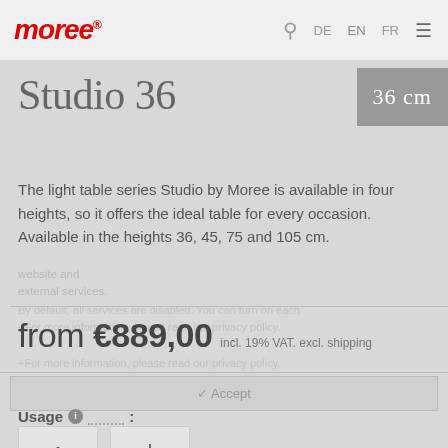moree | DE | EN | FR
Studio 36
36 cm
The light table series Studio by Moree is available in four heights, so it offers the ideal table for every occasion. Available in the heights 36, 45, 75 and 105 cm.
from €889,00 incl. 19% VAT. excl. shipping
Usage :
[Figure (illustration): Indoor usage icon — house outline]
[Figure (illustration): Outdoor/covered usage icon — sun and cloud]